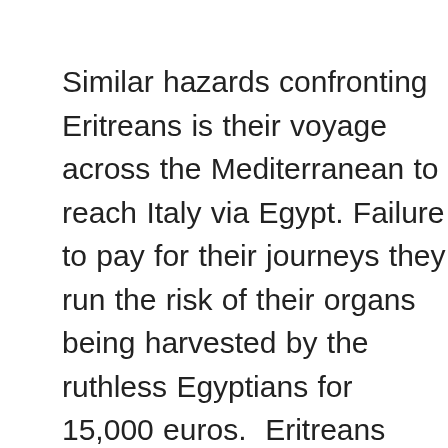Similar hazards confronting Eritreans is their voyage across the Mediterranean to reach Italy via Egypt. Failure to pay for their journeys they run the risk of their organs being harvested by the ruthless Egyptians for 15,000 euros.  Eritreans have suffered immensely at the hands of their autocratic power hungry leader who led the 30 years long armed struggle promising to make Eritrea democratic and prosperous but ended-up with a failed state where its citizens have been forsaking it in droves